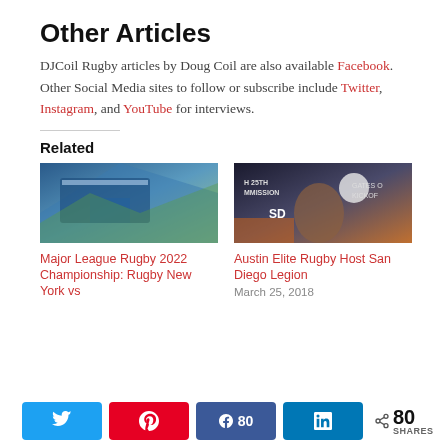Other Articles
DJCoil Rugby articles by Doug Coil are also available Facebook. Other Social Media sites to follow or subscribe include Twitter, Instagram, and YouTube for interviews.
Related
[Figure (photo): Stadium aerial/exterior photo with blue roof structure]
Major League Rugby 2022 Championship: Rugby New York vs
[Figure (photo): San Diego Legion promotional image with player]
Austin Elite Rugby Host San Diego Legion
March 25, 2018
80 SHARES (Twitter, Pin, Facebook 80, LinkedIn share buttons)